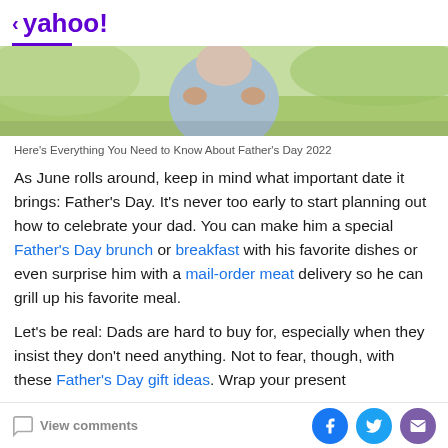< yahoo!
[Figure (photo): Hero image showing a person (father and child) outdoors with green background]
Here's Everything You Need to Know About Father's Day 2022
As June rolls around, keep in mind what important date it brings: Father's Day. It's never too early to start planning out how to celebrate your dad. You can make him a special Father's Day brunch or breakfast with his favorite dishes or even surprise him with a mail-order meat delivery so he can grill up his favorite meal.
Let's be real: Dads are hard to buy for, especially when they insist they don't need anything. Not to fear, though, with these Father's Day gift ideas. Wrap your present...
View comments | Social share icons: Facebook, Twitter, Email